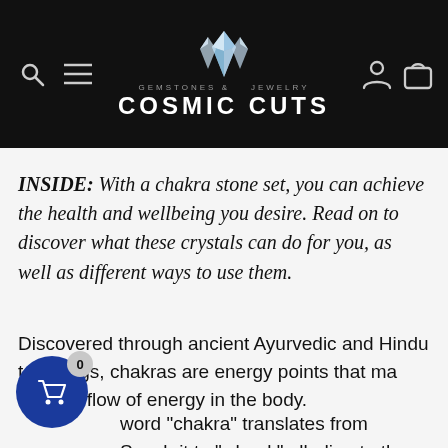GEMSTONES & JEWELRY COSMIC CUTS
INSIDE: With a chakra stone set, you can achieve the health and wellbeing you desire. Read on to discover what these crystals can do for you, as well as different ways to use them.
Discovered through ancient Ayurvedic and Hindu teachings, chakras are energy points that manage the flow of energy in the body. The word "chakra" translates from Sanskrit to "wheel," alluding to the fact that these energy centers are constantly spinning. Each center is